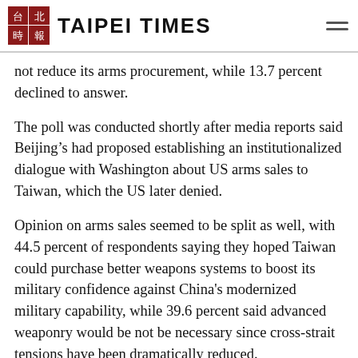TAIPEI TIMES
not reduce its arms procurement, while 13.7 percent declined to answer.
The poll was conducted shortly after media reports said Beijing’s had proposed establishing an institutionalized dialogue with Washington about US arms sales to Taiwan, which the US later denied.
Opinion on arms sales seemed to be split as well, with 44.5 percent of respondents saying they hoped Taiwan could purchase better weapons systems to boost its military confidence against China's modernized military capability, while 39.6 percent said advanced weaponry would be not be necessary since cross-strait tensions have been dramatically reduced.
TISR said public opinion on arms procurement is more